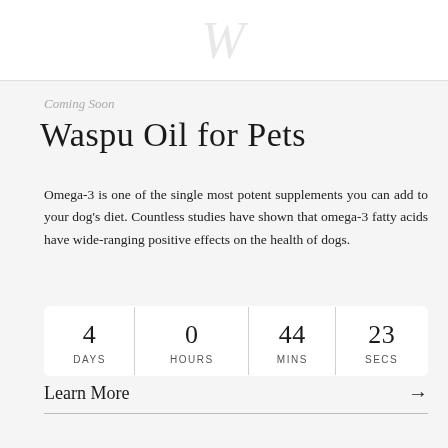[Figure (illustration): Decorative watermark or logo text in light gray at the top of the page]
Coming Soon
Waspu Oil for Pets
Omega-3 is one of the single most potent supplements you can add to your dog's diet. Countless studies have shown that omega-3 fatty acids have wide-ranging positive effects on the health of dogs.
| DAYS | HOURS | MINS | SECS |
| --- | --- | --- | --- |
| 4 | 0 | 44 | 23 |
Learn More →